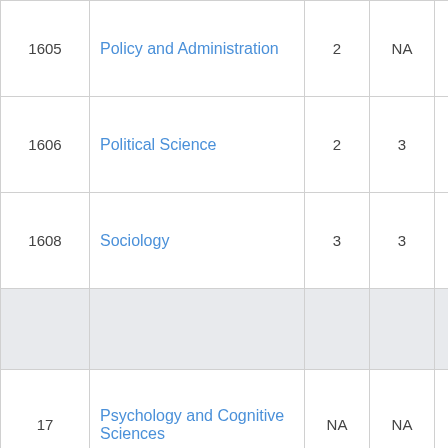| Code | Name | Col1 | Col2 | Col3 |
| --- | --- | --- | --- | --- |
| 1605 | Policy and Administration | 2 | NA | 3 |
| 1606 | Political Science | 2 | 3 | 4 |
| 1608 | Sociology | 3 | 3 | 3 |
|  |  |  |  |  |
| 17 | Psychology and Cognitive Sciences | NA | NA | NA |
| 1701 | Psychology | NA | NA |  |